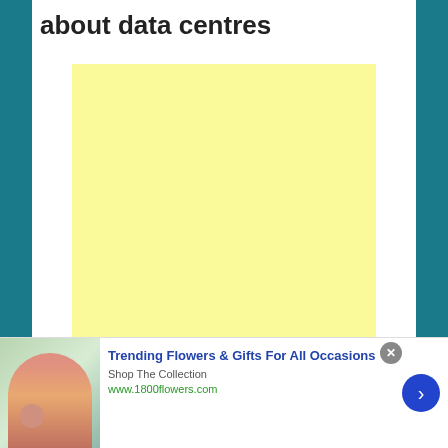about data centres
[Figure (other): Yellow advertisement placeholder block]
Businesses and companies have to think about huge amounts of data storage to be able to operate in the
[Figure (other): Advertisement banner: Trending Flowers & Gifts For All Occasions - Shop The Collection - www.1800flowers.com]